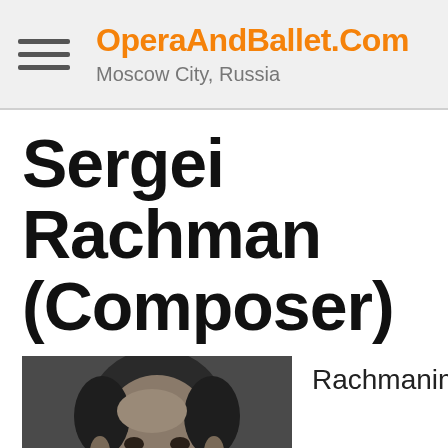OperaAndBallet.Com — Moscow City, Russia
Sergei Rachmaninoff (Composer)
[Figure (photo): Black and white portrait photograph of Sergei Rachmaninoff, showing his face and upper body, in a formal setting.]
Rachmaninoff (Vasilyevich Semyonov...